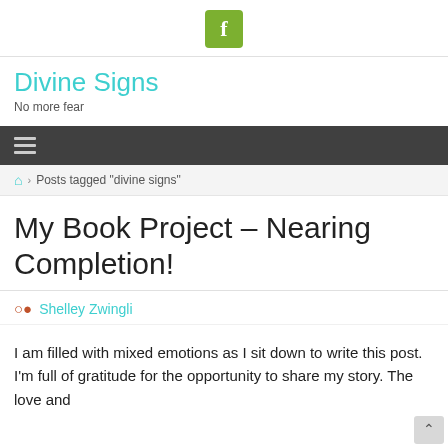[Figure (logo): Facebook icon: white 'f' on green/yellow-green square button]
Divine Signs
No more fear
[Figure (other): Dark navigation bar with hamburger menu icon (three horizontal lines)]
Posts tagged "divine signs"
My Book Project – Nearing Completion!
Shelley Zwingli
I am filled with mixed emotions as I sit down to write this post. I'm full of gratitude for the opportunity to share my story. The love and